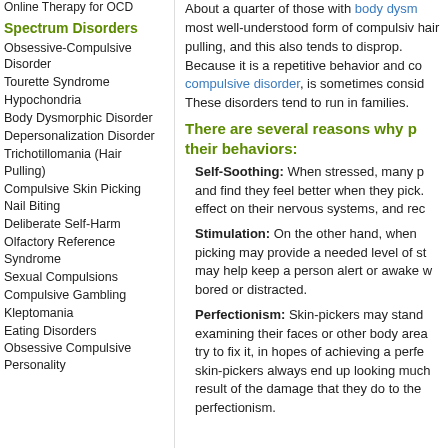Online Therapy for OCD
Spectrum Disorders
Obsessive-Compulsive Disorder
Tourette Syndrome
Hypochondria
Body Dysmorphic Disorder
Depersonalization Disorder
Trichotillomania (Hair Pulling)
Compulsive Skin Picking
Nail Biting
Deliberate Self-Harm
Olfactory Reference Syndrome
Sexual Compulsions
Compulsive Gambling
Kleptomania
Eating Disorders
Obsessive Compulsive Personality
About a quarter of those with body dysmorphic disorder most well-understood form of compulsive hair pulling, and this also tends to disprop. Because it is a repetitive behavior and compulsive disorder, is sometimes considered. These disorders tend to run in families.
There are several reasons why p their behaviors:
Self-Soothing: When stressed, many p and find they feel better when they pick. effect on their nervous systems, and rec
Stimulation: On the other hand, when picking may provide a needed level of st may help keep a person alert or awake bored or distracted.
Perfectionism: Skin-pickers may stand examining their faces or other body area try to fix it, in hopes of achieving a perf skin-pickers always end up looking much result of the damage that they do to the perfectionism.